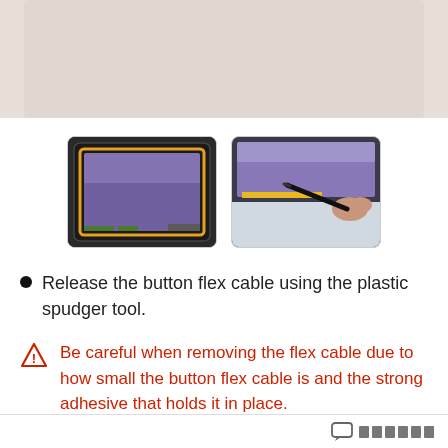[Figure (photo): Top portion of a tablet disassembly photo showing internal components, partially cropped at top of page.]
[Figure (photo): Left photo: tablet opened showing internal motherboard and purple display panel with yellow highlights. Right photo: close-up of a hand using a black plastic spudger tool to release a flex cable on a tablet.]
Release the button flex cable using the plastic spudger tool.
Be careful when removing the flex cable due to how small the button flex cable is and the strong adhesive that holds it in place.
comment icon with boxes